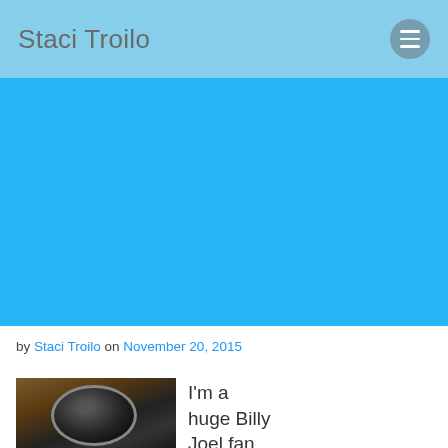Staci Troilo
[Figure (photo): Large blue banner image placeholder]
by Staci Troilo on November 20, 2015
[Figure (photo): Dark close-up photo of a decorative object with swirling patterns, warm brown/gold background]
I'm a huge Billy Joel fan. (Yes, I'm